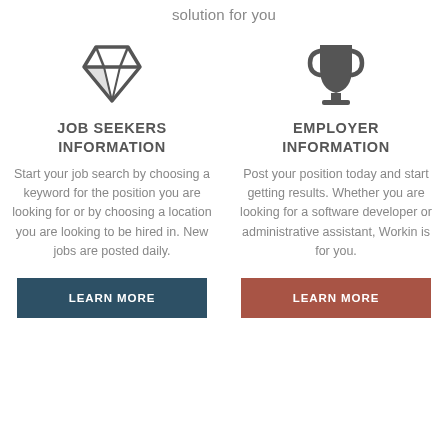solution for you
[Figure (illustration): Diamond icon for Job Seekers section]
JOB SEEKERS INFORMATION
Start your job search by choosing a keyword for the position you are looking for or by choosing a location you are looking to be hired in. New jobs are posted daily.
[Figure (illustration): Trophy icon for Employer Information section]
EMPLOYER INFORMATION
Post your position today and start getting results. Whether you are looking for a software developer or administrative assistant, Workin is for you.
LEARN MORE
LEARN MORE